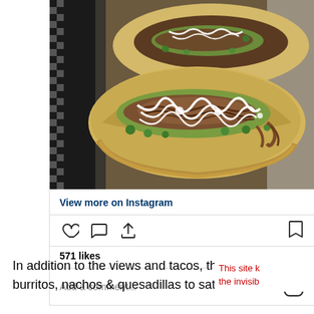[Figure (photo): Close-up overhead photo of two tacos in corn tortillas topped with green salsa, shredded meat, crema drizzled in stripes, and chopped cilantro, on a dark surface]
View more on Instagram
571 likes
Add a comment...
In addition to the views and tacos, they have burritos, nachos & quesadillas to satisfy the
This site k the invisib